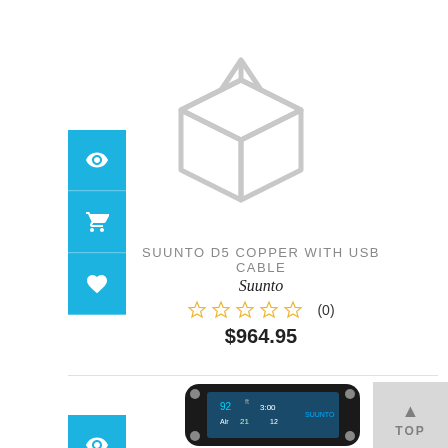[Figure (illustration): Grey box/package icon placeholder image for product]
[Figure (other): Blue sidebar with eye, cart, and heart icons]
SUUNTO D5 COPPER WITH USB CABLE
Suunto
(0)
$964.95
[Figure (photo): Suunto dive computer watch with colorful display showing dive data]
[Figure (other): Blue sidebar with eye icon for second product]